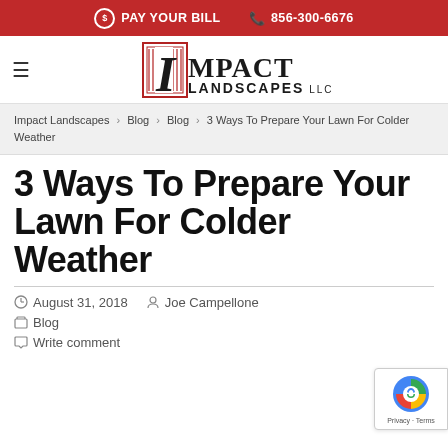PAY YOUR BILL   856-300-6676
[Figure (logo): Impact Landscapes LLC logo with large decorative I and bold text]
Impact Landscapes > Blog > Blog > 3 Ways To Prepare Your Lawn For Colder Weather
3 Ways To Prepare Your Lawn For Colder Weather
August 31, 2018   Joe Campellone
Blog
Write comment